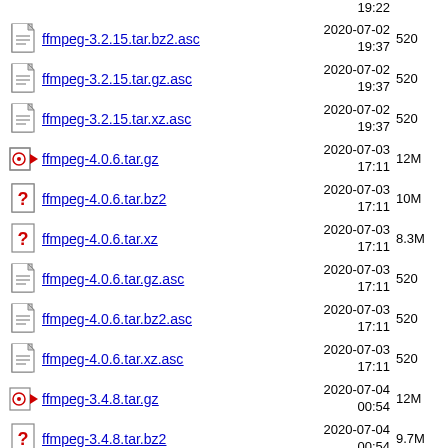ffmpeg-3.2.15.tar.bz2.asc  2020-07-02 19:37  520
ffmpeg-3.2.15.tar.gz.asc  2020-07-02 19:37  520
ffmpeg-3.2.15.tar.xz.asc  2020-07-02 19:37  520
ffmpeg-4.0.6.tar.gz  2020-07-03 17:11  12M
ffmpeg-4.0.6.tar.bz2  2020-07-03 17:11  10M
ffmpeg-4.0.6.tar.xz  2020-07-03 17:11  8.3M
ffmpeg-4.0.6.tar.gz.asc  2020-07-03 17:11  520
ffmpeg-4.0.6.tar.bz2.asc  2020-07-03 17:11  520
ffmpeg-4.0.6.tar.xz.asc  2020-07-03 17:11  520
ffmpeg-3.4.8.tar.gz  2020-07-04 00:54  12M
ffmpeg-3.4.8.tar.bz2  2020-07-04 00:54  9.7M